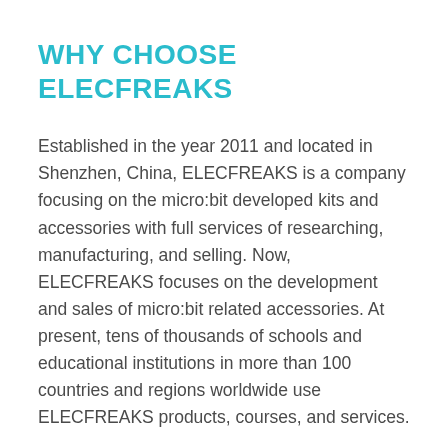WHY CHOOSE ELECFREAKS
Established in the year 2011 and located in Shenzhen, China, ELECFREAKS is a company focusing on the micro:bit developed kits and accessories with full services of researching, manufacturing, and selling. Now, ELECFREAKS focuses on the development and sales of micro:bit related accessories. At present, tens of thousands of schools and educational institutions in more than 100 countries and regions worldwide use ELECFREAKS products, courses, and services.